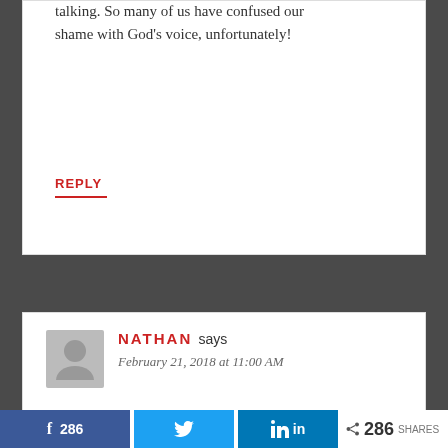talking. So many of us have confused our shame with God's voice, unfortunately!
REPLY
NATHAN says
February 21, 2018 at 11:00 AM
286 shares via Facebook (286), Twitter, LinkedIn